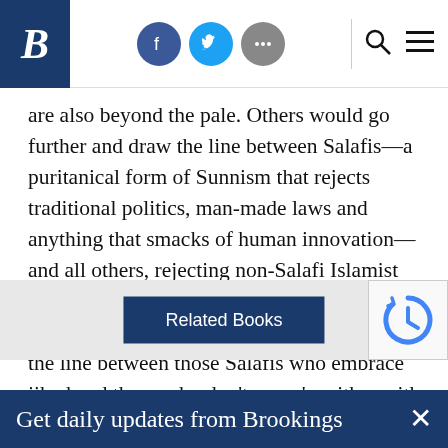B [Brookings logo] — social icons (Facebook, Twitter, more), search, menu
are also beyond the pale. Others would go further and draw the line between Salafis—a puritanical form of Sunnism that rejects traditional politics, man-made laws and anything that smacks of human innovation—and all others, rejecting non-Salafi Islamist groups such as the Muslim Brotherhood as insufficiently pure. Still, others would draw the line between those Salafis who embrace jihad and those who don't—you're either with us or against us.
Related Books
Get daily updates from Brookings